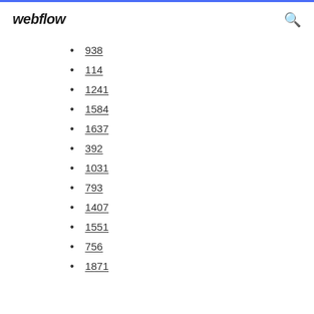webflow
938
114
1241
1584
1637
392
1031
793
1407
1551
756
1871